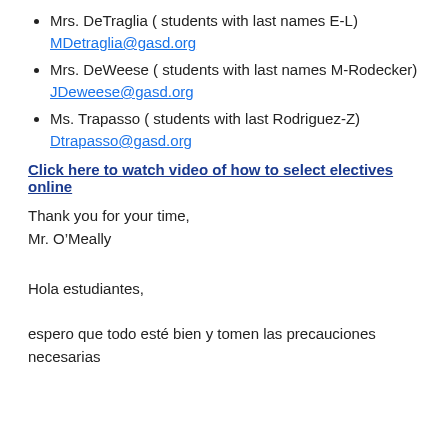Mrs. DeTraglia ( students with last names E-L)
MDetraglia@gasd.org
Mrs. DeWeese ( students with last names M-Rodecker)
JDeweese@gasd.org
Ms. Trapasso ( students with last Rodriguez-Z)
Dtrapasso@gasd.org
Click here to watch video of how to select electives online
Thank you for your time,
Mr. O’Meally
Hola estudiantes,
espero que todo esté bien y tomen las precauciones necesarias